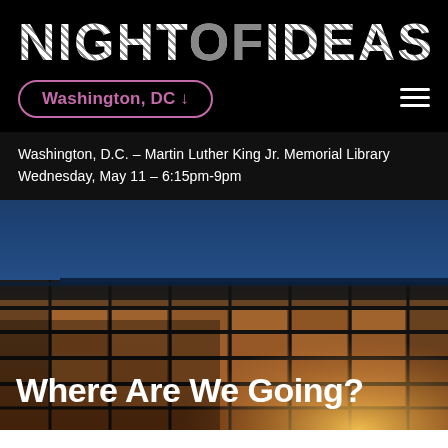NIGHT OF IDEAS
Washington, DC ↓
Washington, D.C. – Martin Luther King Jr. Memorial Library
Wednesday, May 11 – 6:15pm-9pm
[Figure (photo): Nighttime photograph of Martin Luther King Jr. Memorial Library building exterior, glass facade lit from within against dark blue evening sky, with overlaid large white text 'Where Are We Going?']
Where Are We Going?